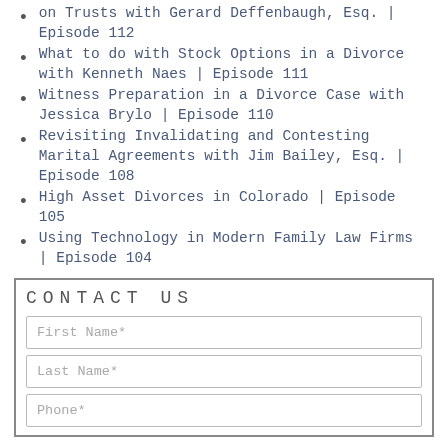on Trusts with Gerard Deffenbaugh, Esq. | Episode 112
What to do with Stock Options in a Divorce with Kenneth Naes | Episode 111
Witness Preparation in a Divorce Case with Jessica Brylo | Episode 110
Revisiting Invalidating and Contesting Marital Agreements with Jim Bailey, Esq. | Episode 108
High Asset Divorces in Colorado | Episode 105
Using Technology in Modern Family Law Firms | Episode 104
CONTACT US
First Name*
Last Name*
Phone*